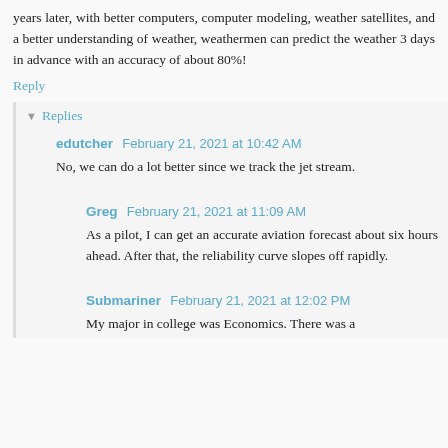years later, with better computers, computer modeling, weather satellites, and a better understanding of weather, weathermen can predict the weather 3 days in advance with an accuracy of about 80%!
Reply
Replies
edutcher  February 21, 2021 at 10:42 AM
No, we can do a lot better since we track the jet stream.
Greg  February 21, 2021 at 11:09 AM
As a pilot, I can get an accurate aviation forecast about six hours ahead. After that, the reliability curve slopes off rapidly.
Submariner  February 21, 2021 at 12:02 PM
My major in college was Economics. There was a